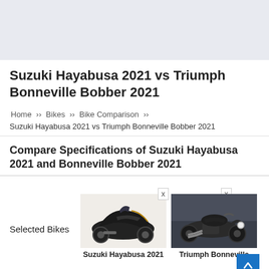Suzuki Hayabusa 2021 vs Triumph Bonneville Bobber 2021
Home » Bikes » Bike Comparison »
Suzuki Hayabusa 2021 vs Triumph Bonneville Bobber 2021
Compare Specifications of Suzuki Hayabusa 2021 and Bonneville Bobber 2021
Selected Bikes
[Figure (photo): Suzuki Hayabusa 2021 motorcycle photo - black sportbike side view]
Suzuki Hayabusa 2021
[Figure (photo): Triumph Bonneville Bobber 2021 motorcycle photo - dark classic bobber side view in studio]
Triumph Bonneville